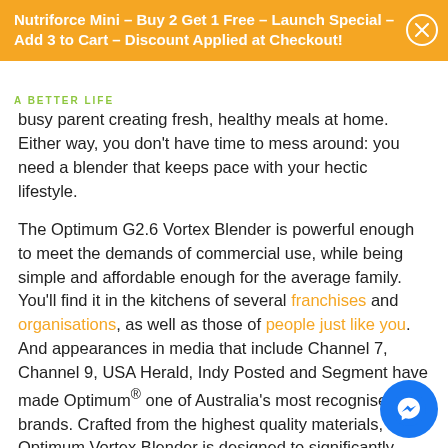Nutriforce Mini – Buy 2 Get 1 Free – Launch Special – Add 3 to Cart – Discount Applied at Checkout!
A BETTER LIFE
busy parent creating fresh, healthy meals at home. Either way, you don't have time to mess around: you need a blender that keeps pace with your hectic lifestyle.
The Optimum G2.6 Vortex Blender is powerful enough to meet the demands of commercial use, while being simple and affordable enough for the average family. You'll find it in the kitchens of several franchises and organisations, as well as those of people just like you. And appearances in media that include Channel 7, Channel 9, USA Herald, Indy Posted and Segment have made Optimum® one of Australia's most recognised brands. Crafted from the highest quality materials, the Optimum Vortex Blender is designed to significantly outperform and outl… all of its competitors. In fact, we're so confident in